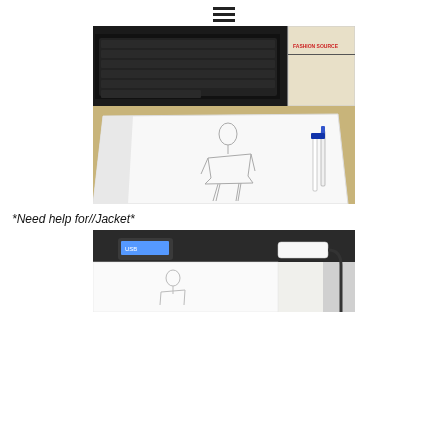☰
[Figure (photo): Photo of an open sketchbook on a desk with a laptop keyboard visible at the top, a fashion book on the right, pens and a marker to the side, and a pencil sketch of a standing fashion figure drawn on the white sketchbook page.]
*Need help for//Jacket*
[Figure (photo): Partial photo showing a sketchbook on a light table or bright surface with a USB cable connected to a device, and a pencil sketch visible on the page.]